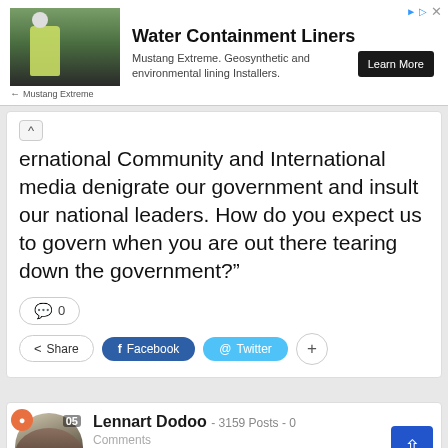[Figure (other): Advertisement banner for Water Containment Liners by Mustang Extreme with photo of worker on dark liner surface]
ernational Community and International media denigrate our government and insult our national leaders. How do you expect us to govern when you are out there tearing down the government?"
0
Share  Facebook  Twitter  +
Lennart Dodoo  -  3159 Posts  -  0
Comments